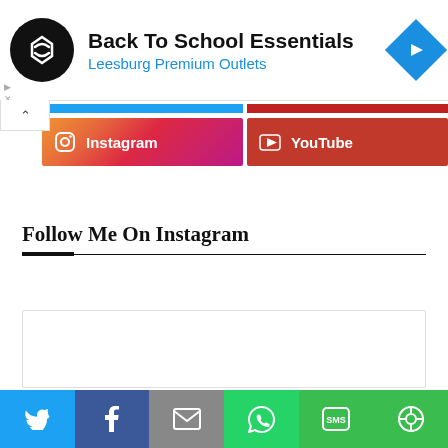[Figure (screenshot): Ad banner for Back To School Essentials at Leesburg Premium Outlets with logo and navigation icon]
Back To School Essentials
Leesburg Premium Outlets
[Figure (infographic): Instagram and YouTube social media buttons with colored bars]
Follow Me On Instagram
[Figure (screenshot): Instagram widget embed placeholder box]
[Figure (infographic): Social share bar with Twitter, Facebook, Email, WhatsApp, SMS, and More buttons at the bottom]